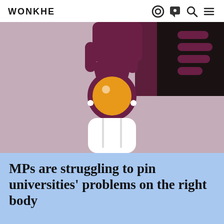WONKHE
[Figure (illustration): Stylized illustration of an upside-down person (figure with white shirt, head shown as orange sphere held by dark maroon hand with finger-like shapes) against a mauve/dusty rose background with dark geometric shapes in upper corners.]
MPs are struggling to pin universities' problems on the right body